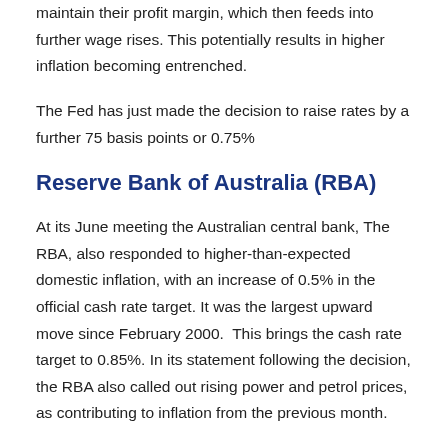maintain their profit margin, which then feeds into further wage rises. This potentially results in higher inflation becoming entrenched.
The Fed has just made the decision to raise rates by a further 75 basis points or 0.75%
Reserve Bank of Australia (RBA)
At its June meeting the Australian central bank, The RBA, also responded to higher-than-expected domestic inflation, with an increase of 0.5% in the official cash rate target. It was the largest upward move since February 2000.  This brings the cash rate target to 0.85%. In its statement following the decision, the RBA also called out rising power and petrol prices, as contributing to inflation from the previous month.